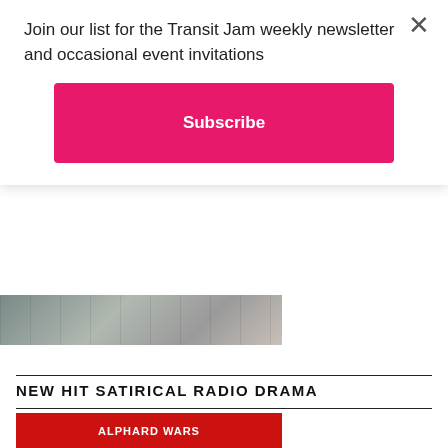Join our list for the Transit Jam weekly newsletter and occasional event invitations
Subscribe
[Figure (photo): Partial photo strip showing aerial or street-level imagery, partially visible behind modal overlay]
NEW HIT SATIRICAL RADIO DRAMA
[Figure (illustration): Alphard Wars radio drama promotional image: red minivan with crosshair/target logo and text 'ALPHARD WARS' in white, red banner below reading 'Check out our new RTHK drama!']